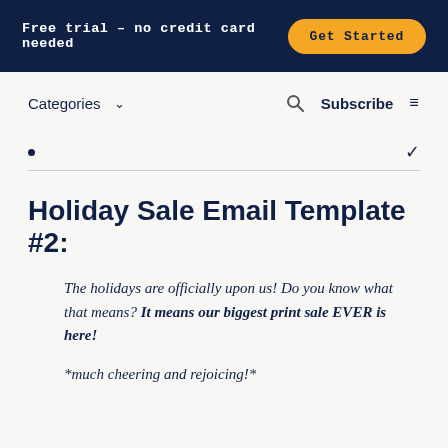Free trial – no credit card needed   Get Started
Categories ∨   🔍   Subscribe   ≡
Holiday Sale Email Template #2:
The holidays are officially upon us! Do you know what that means? It means our biggest print sale EVER is here!
*much cheering and rejoicing!*